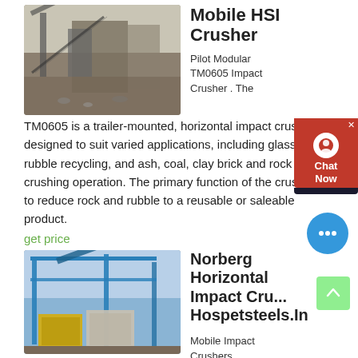[Figure (photo): Mobile HSI crusher equipment at a mining/quarry site, trailer-mounted horizontal impact crusher]
Mobile HSI Crusher
Pilot Modular TM0605 Impact Crusher . The TM0605 is a trailer-mounted, horizontal impact crusher designed to suit varied applications, including glass and rubble recycling, and ash, coal, clay brick and rock crushing operation. The primary function of the crusher is to reduce rock and rubble to a reusable or saleable product.
get price
[Figure (photo): Norberg Horizontal Impact Crusher with blue steel frame structure and yellow crusher unit at an industrial site]
Norberg Horizontal Impact Crusher Hospetsteels.In
Mobile Impact Crushers Screenmasters Australia. Impact